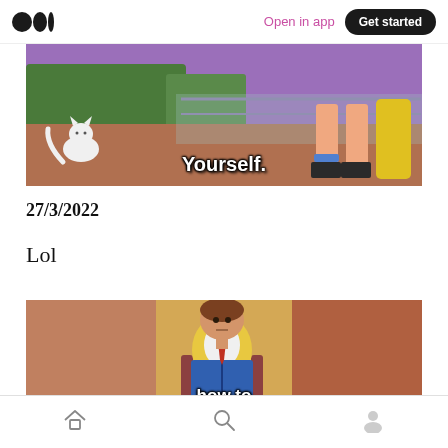Medium logo | Open in app | Get started
[Figure (illustration): Anime-style meme image showing legs of a person sitting on a bench with a white cat, with text 'Yourself.' at the bottom]
27/3/2022
Lol
[Figure (illustration): Animated-style meme image showing a man in a yellow vest reading a blue book, with text 'how to' visible at the bottom]
Bottom navigation: Home, Search, Profile